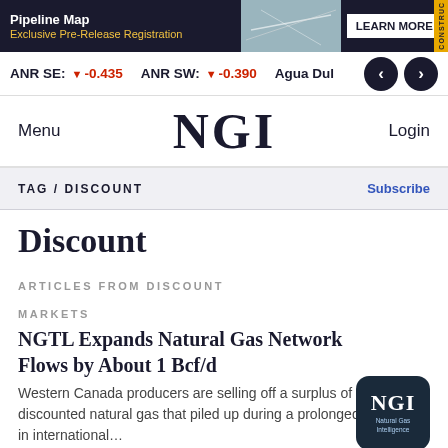Pipeline Map | Exclusive Pre-Release Registration | LEARN MORE
ANR SE: ▼ -0.435   ANR SW: ▼ -0.390   Agua Dul…
NGI | Menu | Login
TAG / DISCOUNT   Subscribe
Discount
ARTICLES FROM DISCOUNT
MARKETS
NGTL Expands Natural Gas Network Flows by About 1 Bcf/d
Western Canada producers are selling off a surplus of steeply discounted natural gas that piled up during a prolonged disruption in international…